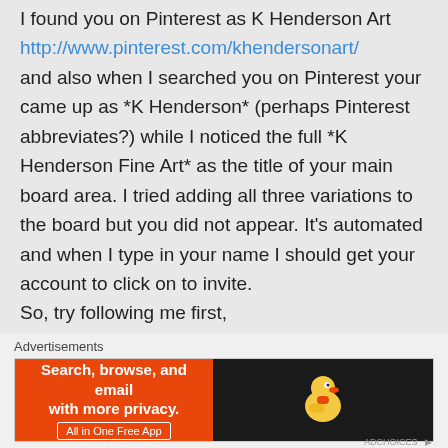I found you on Pinterest as K Henderson Art
http://www.pinterest.com/khendersonart/
and also when I searched you on Pinterest your came up as *K Henderson* (perhaps Pinterest abbreviates?) while I noticed the full *K Henderson Fine Art* as the title of your main board area. I tried adding all three variations to the board but you did not appear. It's automated and when I type in your name I should get your account to click on to invite.
So, try following me first,
Advertisements
[Figure (screenshot): DuckDuckGo advertisement banner: orange left panel with text 'Search, browse, and email with more privacy. All in One Free App', black right panel with DuckDuckGo duck logo]